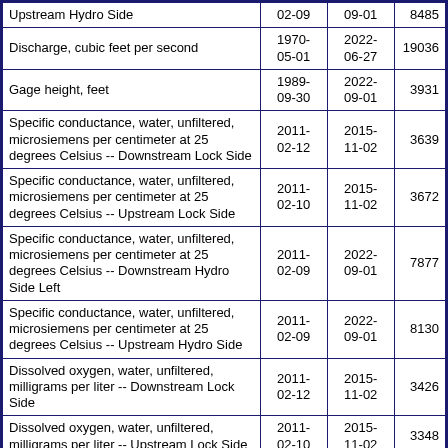| Parameter | Begin Date | End Date | Count |
| --- | --- | --- | --- |
| Upstream Hydro Side | 02-09 | 09-01 | 8485 |
| Discharge, cubic feet per second | 1970-05-01 | 2022-06-27 | 19036 |
| Gage height, feet | 1989-09-30 | 2022-09-01 | 3931 |
| Specific conductance, water, unfiltered, microsiemens per centimeter at 25 degrees Celsius -- Downstream Lock Side | 2011-02-12 | 2015-11-02 | 3639 |
| Specific conductance, water, unfiltered, microsiemens per centimeter at 25 degrees Celsius -- Upstream Lock Side | 2011-02-10 | 2015-11-02 | 3672 |
| Specific conductance, water, unfiltered, microsiemens per centimeter at 25 degrees Celsius -- Downstream Hydro Side Left | 2011-02-09 | 2022-09-01 | 7877 |
| Specific conductance, water, unfiltered, microsiemens per centimeter at 25 degrees Celsius -- Upstream Hydro Side | 2011-02-09 | 2022-09-01 | 8130 |
| Dissolved oxygen, water, unfiltered, milligrams per liter -- Downstream Lock Side | 2011-02-12 | 2015-11-02 | 3426 |
| Dissolved oxygen, water, unfiltered, milligrams per liter -- Upstream Lock Side | 2011-02-10 | 2015-11-02 | 3348 |
| Dissolved oxygen, water, unfiltered, milligrams per liter -- Downstream Hydro Side Left | 2011-02-09 | 2022-09-01 | 7994 |
| Dissolved oxygen, water, unfiltered, |  |  |  |